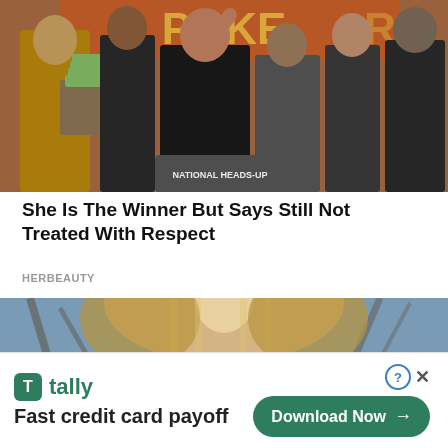[Figure (photo): A group of people at a poker event. A woman in a black shirt raises her arm in victory. A person in gladiator costume holds a tray of cash. Crowd stands behind them. Poker show banner visible in background.]
She Is The Winner But Says Still Not Treated With Respect
HERBEAUTY
[Figure (photo): Close-up of a blonde woman's head, viewed from behind/above, with a blurred background of tree branches.]
[Figure (infographic): Advertisement banner for Tally app. Shows Tally logo (green square with T), text 'Fast credit card payoff', and a green 'Download Now' button with arrow. Also shows question mark circle and X close buttons.]